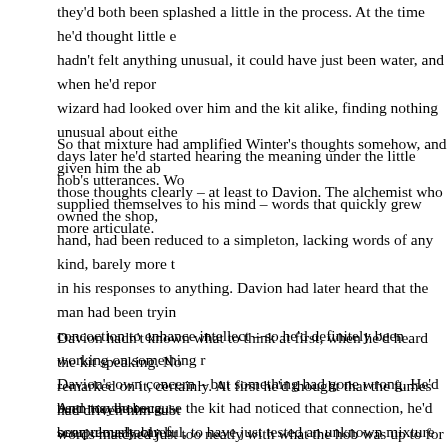they'd both been splashed a little in the process. At the time he'd thought little en hadn't felt anything unusual, it could have just been water, and when he'd repor wizard had looked over him and the kit alike, finding nothing unusual about eithe days later he'd started hearing the meaning under the little hob's utterances. Wo supplied themselves to his mind – words that quickly grew more articulate.
So that mixture had amplified Winter's thoughts somehow, and given him the abi those thoughts clearly – at least to Davion. The alchemist who owned the shop, hand, had been reduced to a simpleton, lacking words of any kind, barely more t in his responses to anything. Davion had later heard that the man had been tryin concoction to enhance intellect – so he'd definitely been working on something r Davion's own concern – but something had gone wrong. He'd been too thorough scrupulously careful, to have just tested an unknown mixture on himself without r fact, but there had been a tremor in the earth in town that day, at about the same upset a jar at just the wrong time, just so, nobody could say what the consequen been. More likely that the tremor had caused the alchemist's accident than the re – the damage just hadn't been great enough for a detonation of that force. The a still technically alive, for one thing.
Davion hadn't known what to think at first, when he'd heard the kit speaking. No remarked on it, certainly. At first he'd thought that the fumes had driven him subt words matched just too neatly with what the hob was up to for them to be just the Davion's own imagination, diseased or otherwise.
And maybe because the kit had noticed that connection, he'd been remarkably b gerwuhl hob – at least where Davion was concerned. Davion had always had a v